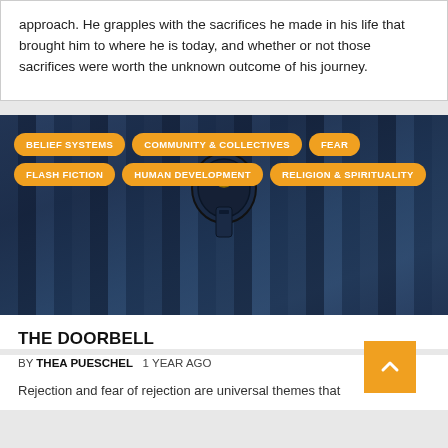approach. He grapples with the sacrifices he made in his life that brought him to where he is today, and whether or not those sacrifices were worth the unknown outcome of his journey.
[Figure (photo): Dark blue wooden door with ornate metal doorbell/knocker hardware. Overlaid with orange pill-shaped category tags: BELIEF SYSTEMS, COMMUNITY & COLLECTIVES, FEAR, FLASH FICTION, HUMAN DEVELOPMENT, RELIGION & SPIRITUALITY]
THE DOORBELL
BY THEA PUESCHEL   1 YEAR AGO
Rejection and fear of rejection are universal themes that